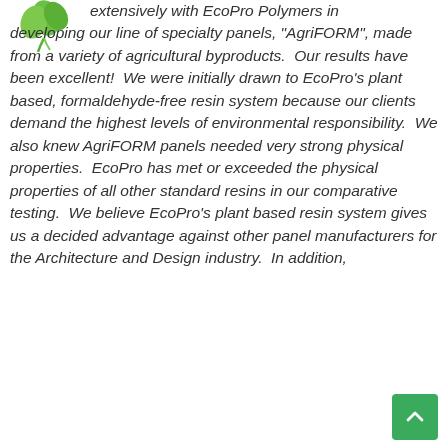[Figure (logo): Green leaf/clover logo in the top left corner]
extensively with EcoPro Polymers in developing our line of specialty panels, "AgriFORM", made from a variety of agricultural byproducts.  Our results have been excellent!  We were initially drawn to EcoPro's plant based, formaldehyde-free resin system because our clients demand the highest levels of environmental responsibility.  We also knew AgriFORM panels needed very strong physical properties.  EcoPro has met or exceeded the physical properties of all other standard resins in our comparative testing.  We believe EcoPro's plant based resin system gives us a decided advantage against other panel manufacturers for the Architecture and Design industry.  In addition,